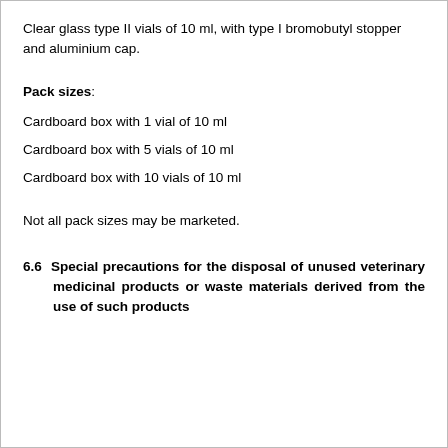Clear glass type II vials of 10 ml, with type I bromobutyl stopper and aluminium cap.
Pack sizes:
Cardboard box with 1 vial of 10 ml
Cardboard box with 5 vials of 10 ml
Cardboard box with 10 vials of 10 ml
Not all pack sizes may be marketed.
6.6  Special precautions for the disposal of unused veterinary medicinal products or waste materials derived from the use of such products